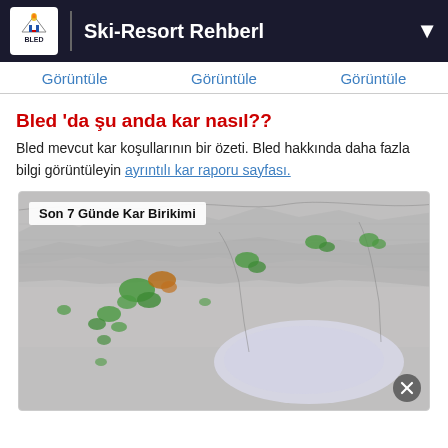Ski-Resort Rehberi
Görüntüle | Görüntüle | Görüntüle
Bled 'da şu anda kar nasıl??
Bled mevcut kar koşullarının bir özeti. Bled hakkında daha fazla bilgi görüntüleyin ayrıntılı kar raporu sayfası.
[Figure (map): Son 7 Günde Kar Birikimi - A topographic/relief map showing the Alps region including Slovenia, northern Italy, and surrounding areas. Green and brown patches on the map indicate snow accumulation over the last 7 days. A body of water (Adriatic Sea) is visible in the lower center-right. The map uses a gray shaded relief style.]